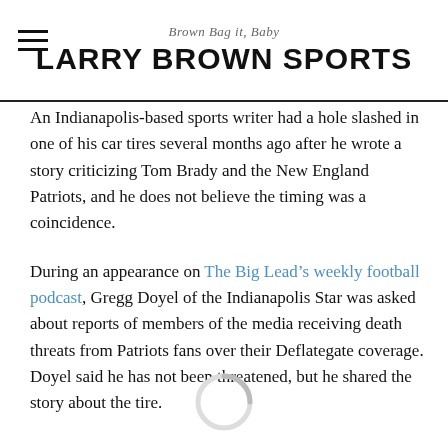Brown Bag it, Baby
LARRY BROWN SPORTS
An Indianapolis-based sports writer had a hole slashed in one of his car tires several months ago after he wrote a story criticizing Tom Brady and the New England Patriots, and he does not believe the timing was a coincidence.
During an appearance on The Big Lead’s weekly football podcast, Gregg Doyel of the Indianapolis Star was asked about reports of members of the media receiving death threats from Patriots fans over their Deflategate coverage. Doyel said he has not been threatened, but he shared the story about the tire.